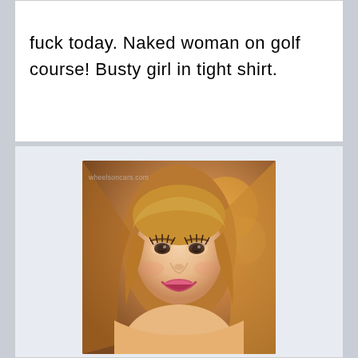fuck today. Naked woman on golf course! Busty girl in tight shirt.
[Figure (photo): Portrait photo of a smiling young woman with long blonde hair, with watermark 'wheelsoncars.com']